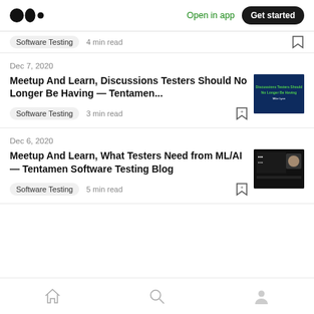Medium logo | Open in app | Get started
Software Testing  4 min read
Dec 7, 2020
Meetup And Learn, Discussions Testers Should No Longer Be Having — Tentamen...
Software Testing  3 min read
Dec 6, 2020
Meetup And Learn, What Testers Need from ML/AI — Tentamen Software Testing Blog
Software Testing  5 min read